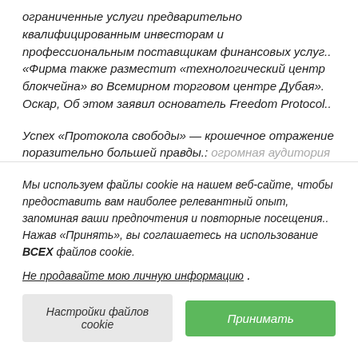ограниченные услуги предварительно квалифицированным инвесторам и профессиональным поставщикам финансовых услуг.. «Фирма также разместит «технологический центр блокчейна» во Всемирном торговом центре Дубая». Оскар, Об этом заявил основатель Freedom Protocol..
Успех «Протокола свободы» — крошечное отражение поразительно большей правды.: огромная аудитория крипто до сих пор осталась на
Мы используем файлы cookie на нашем веб-сайте, чтобы предоставить вам наиболее релевантный опыт, запоминая ваши предпочтения и повторные посещения.. Нажав «Принять», вы соглашаетесь на использование ВСЕХ файлов cookie.
Не продавайте мою личную информацию .